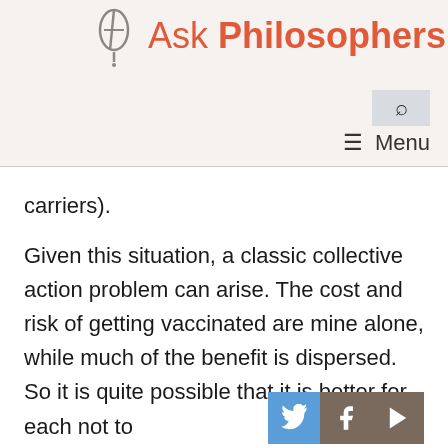Ask Philosophers
carriers).
Given this situation, a classic collective action problem can arise. The cost and risk of getting vaccinated are mine alone, while much of the benefit is dispersed. So it is quite possible that it is better for each not to